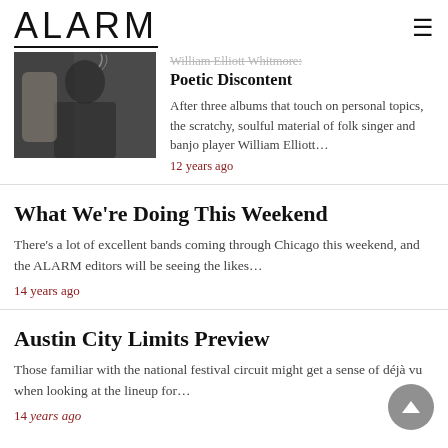ALARM
William Elliott Whitmore: Poetic Discontent
[Figure (photo): Photo of a man with tattoos sitting in a chair, appearing to be smoking]
After three albums that touch on personal topics, the scratchy, soulful material of folk singer and banjo player William Elliott…
12 years ago
What We're Doing This Weekend
There's a lot of excellent bands coming through Chicago this weekend, and the ALARM editors will be seeing the likes…
14 years ago
Austin City Limits Preview
Those familiar with the national festival circuit might get a sense of déjà vu when looking at the lineup for…
14 years ago